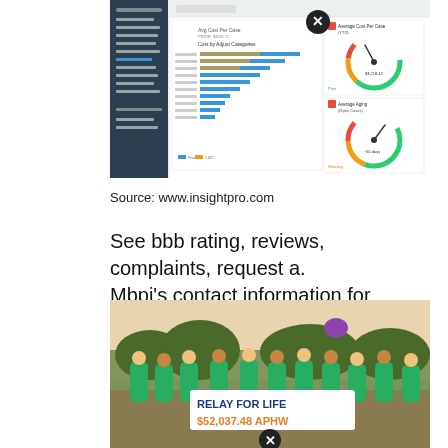[Figure (screenshot): Screenshot of an insurance analytics dashboard showing bar charts and gauge meters for cost per case metrics. Includes a close/X button overlay. Dark sidebar navigation on left, charts showing 'Cost by Adjuster Categories', gauge dials for 'Average Cost Per Case (YTD)' and 'Average Aging (Open Cases)'.]
Source: www.insightpro.com
See bbb rating, reviews, complaints, request a. Mbpi's contact information for claims:
[Figure (photo): Group photo of people in green t-shirts holding a banner that reads 'RELAY FOR LIFE $52,037.48 APHW' at an outdoor event. A close/X button overlay is visible at the bottom center.]